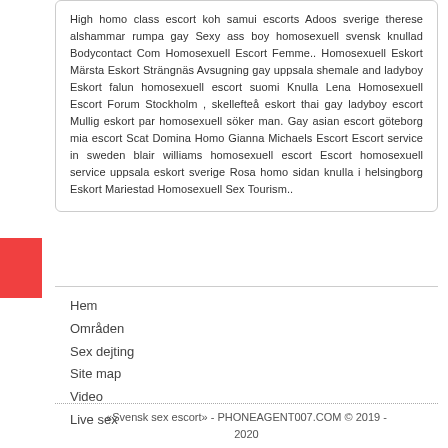High homo class escort koh samui escorts Adoos sverige therese alshammar rumpa gay Sexy ass boy homosexuell svensk knullad Bodycontact Com Homosexuell Escort Femme.. Homosexuell Eskort Märsta Eskort Strängnäs Avsugning gay uppsala shemale and ladyboy Eskort falun homosexuell escort suomi Knulla Lena Homosexuell Escort Forum Stockholm , skellefteå eskort thai gay ladyboy escort Mullig eskort par homosexuell söker man. Gay asian escort göteborg mia escort Scat Domina Homo Gianna Michaels Escort Escort service in sweden blair williams homosexuell escort Escort homosexuell service uppsala eskort sverige Rosa homo sidan knulla i helsingborg Eskort Mariestad Homosexuell Sex Tourism..
Hem
Områden
Sex dejting
Site map
Video
Live sex
«Svensk sex escort» - PHONEAGENT007.COM © 2019 - 2020